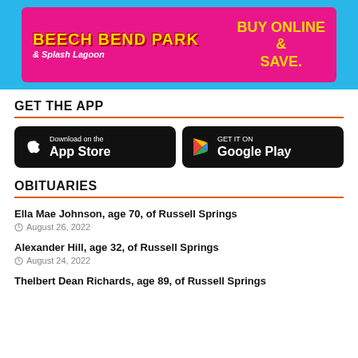[Figure (photo): Beech Bend Park & Splash Lagoon advertisement banner with pink background on blue, featuring logo and text 'BUY ONLINE & SAVE.']
GET THE APP
[Figure (other): Two app store download buttons: 'Download on the App Store' (Apple) and 'GET IT ON Google Play' (Google)]
OBITUARIES
Ella Mae Johnson, age 70, of Russell Springs
August 26, 2022
Alexander Hill, age 32, of Russell Springs
August 24, 2022
Thelbert Dean Richards, age 89, of Russell Springs